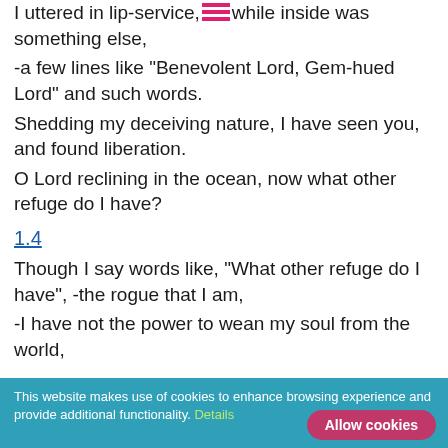I uttered in lip-service,-while inside was something else,
-a few lines like "Benevolent Lord, Gem-hued Lord" and such words.
Shedding my deceiving nature, I have seen you, and found liberation.
O Lord reclining in the ocean, now what other refuge do I have?
1.4
Though I say words like, "What other refuge do I have", -the rogue that I am,
-I have not the power to wean my soul from the world,
This website makes use of cookies to enhance browsing experience and provide additional functionality. Details Allow cookies